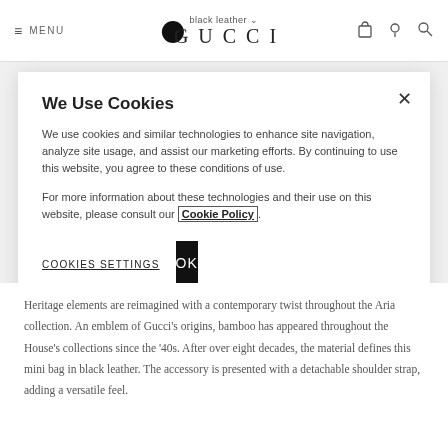MENU | GUCCI | black leather
We Use Cookies
We use cookies and similar technologies to enhance site navigation, analyze site usage, and assist our marketing efforts. By continuing to use this website, you agree to these conditions of use.
For more information about these technologies and their use on this website, please consult our Cookie Policy.
COOKIES SETTINGS    OK
Heritage elements are reimagined with a contemporary twist throughout the Aria collection. An emblem of Gucci's origins, bamboo has appeared throughout the House's collections since the '40s. After over eight decades, the material defines this mini bag in black leather. The accessory is presented with a detachable shoulder strap, adding a versatile feel.